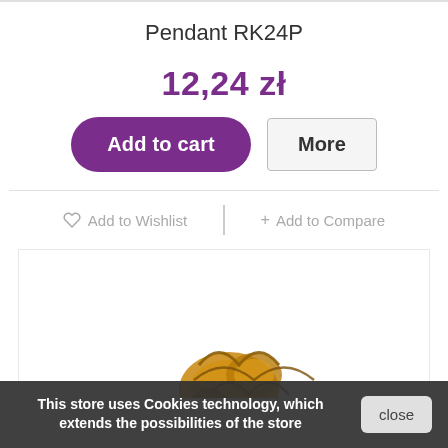Pendant RK24P
12,24 zł
Add to cart
More
Add to Wishlist
+ Add to Compare
[Figure (photo): Product photo of Pendant RK24P, a gold-colored ornamental pendant, partially visible at bottom of image area]
This store uses Cookies technology, which extends the possibilities of the store
close